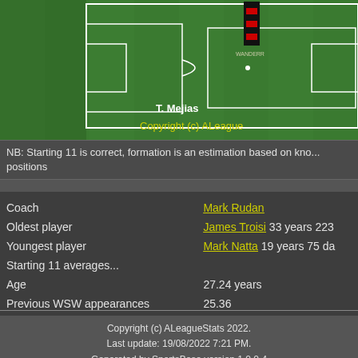[Figure (illustration): Soccer/football field diagram with player position marker and team stripe icon. Player label 'T. Mejias' shown on the field. Copyright watermark 'Copyright (c) ALeague' visible.]
NB: Starting 11 is correct, formation is an estimation based on known positions
| Coach | Mark Rudan |
| Oldest player | James Troisi 33 years 223 |
| Youngest player | Mark Natta 19 years 75 da |
| Starting 11 averages... |  |
| Age | 27.24 years |
| Previous WSW appearances | 25.36 |
Copyright (c) ALeagueStats 2022.
Last update: 19/08/2022 7:21 PM.
Generated by SportsBase version 1.0.0.4
Have a question, or found a problem? Contact me!